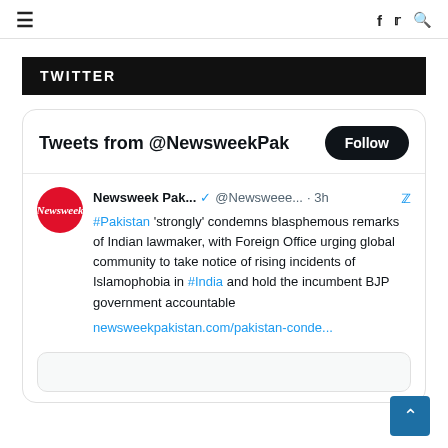≡  f  🐦  🔍
TWITTER
[Figure (screenshot): Twitter widget showing 'Tweets from @NewsweekPak' with a Follow button, and one tweet from Newsweek Pak... (@Newsweee... · 3h): '#Pakistan 'strongly' condemns blasphemous remarks of Indian lawmaker, with Foreign Office urging global community to take notice of rising incidents of Islamophobia in #India and hold the incumbent BJP government accountable newsweekpakistan.com/pakistan-conde...']